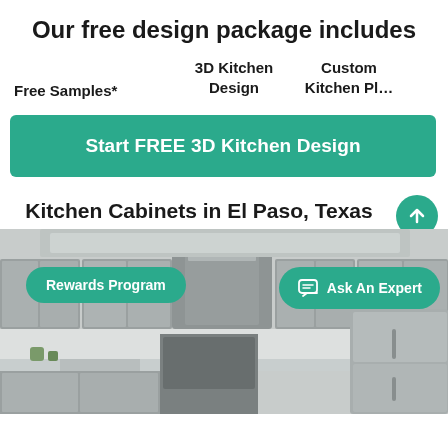Our free design package includes
Free Samples*
3D Kitchen Design
Custom Kitchen Pl…
Start FREE 3D Kitchen Design
Kitchen Cabinets in El Paso, Texas
[Figure (photo): Kitchen interior with gray cabinets, stainless steel appliances, and a large range hood. Overlaid UI buttons: Rewards Program and Ask An Expert.]
Rewards Program
Ask An Expert